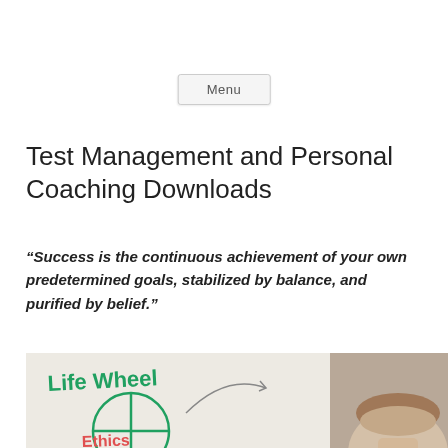Menu
Test Management and Personal Coaching Downloads
“Success is the continuous achievement of your own predetermined goals, stabilized by balance, and purified by belief.”
[Figure (photo): Composite image showing a whiteboard with 'Life Wheel' written in green marker and a circle diagram with 'Ethics' labeled, alongside a partial photo of a person's head]